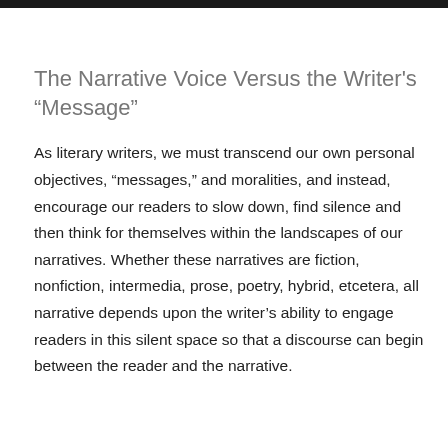The Narrative Voice Versus the Writer's “Message”
As literary writers, we must transcend our own personal objectives, “messages,” and moralities, and instead, encourage our readers to slow down, find silence and then think for themselves within the landscapes of our narratives. Whether these narratives are fiction, nonfiction, intermedia, prose, poetry, hybrid, etcetera, all narrative depends upon the writer’s ability to engage readers in this silent space so that a discourse can begin between the reader and the narrative.